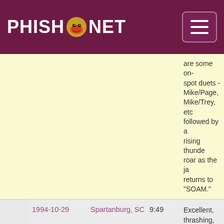PHISH.NET
| Date | Location | Duration | Notes |
| --- | --- | --- | --- |
|  |  |  | are some on-spot duets - Mike/Page, Mike/Trey, etc followed by a rising thunder roar as the ja returns to "SOAM." |
| 1994-10-29 | Spartanburg, SC | 9:49 | Excellent, thrashing, wild unfinished ver kicks off a gre unsusual segu fest. -> "Buffa Bill" -> "Makis -> "Rift." |
| 1994-11-03 | Amherst, MA | 14:52 | Epic, Explora... |